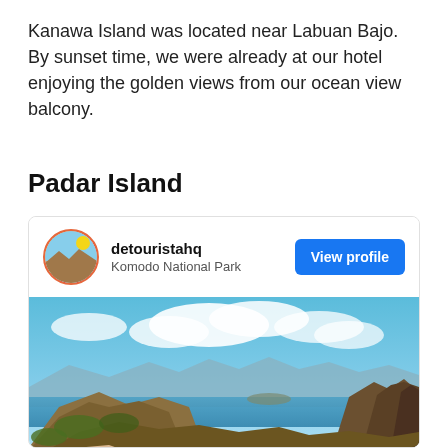Kanawa Island was located near Labuan Bajo. By sunset time, we were already at our hotel enjoying the golden views from our ocean view balcony.
Padar Island
[Figure (screenshot): Instagram-style profile card for detouristahq at Komodo National Park with a View profile button, followed by a landscape photo of Padar Island showing rocky hills, blue bays, and sky with clouds.]